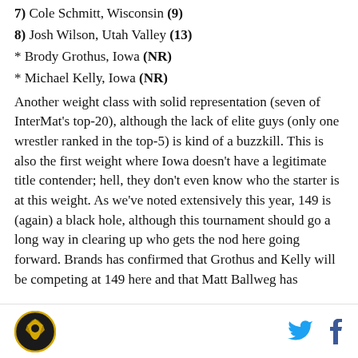7) Cole Schmitt, Wisconsin (9)
8) Josh Wilson, Utah Valley (13)
* Brody Grothus, Iowa (NR)
* Michael Kelly, Iowa (NR)
Another weight class with solid representation (seven of InterMat's top-20), although the lack of elite guys (only one wrestler ranked in the top-5) is kind of a buzzkill. This is also the first weight where Iowa doesn't have a legitimate title contender; hell, they don't even know who the starter is at this weight. As we've noted extensively this year, 149 is (again) a black hole, although this tournament should go a long way in clearing up who gets the nod here going forward. Brands has confirmed that Grothus and Kelly will be competing at 149 here and that Matt Ballweg has